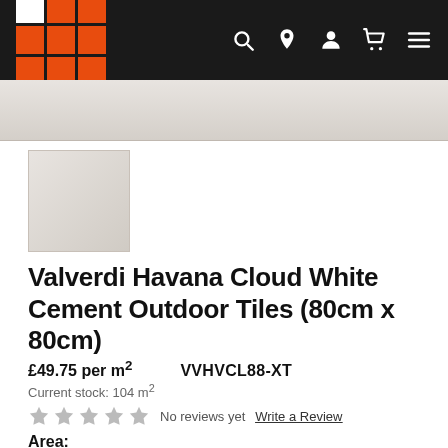Valverdi tile store navigation header
[Figure (photo): Light grey/white cement texture tile hero image strip]
[Figure (photo): Thumbnail image of Valverdi Havana Cloud White Cement tile showing light grey textured surface]
Valverdi Havana Cloud White Cement Outdoor Tiles (80cm x 80cm)
£49.75 per m²    VVHVCL88-XT
Current stock: 104 m²
No reviews yet   Write a Review
Area: